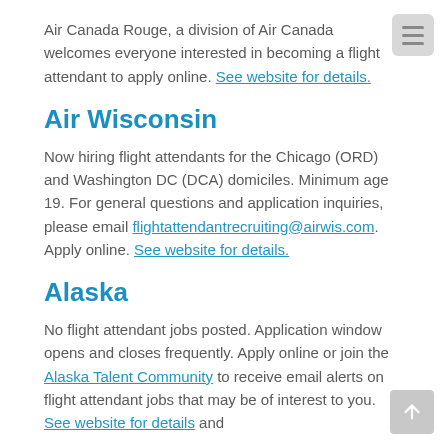Air Canada Rouge, a division of Air Canada welcomes everyone interested in becoming a flight attendant to apply online. See website for details.
Air Wisconsin
Now hiring flight attendants for the Chicago (ORD) and Washington DC (DCA) domiciles. Minimum age 19. For general questions and application inquiries, please email flightattendantrecruiting@airwis.com. Apply online. See website for details.
Alaska
No flight attendant jobs posted. Application window opens and closes frequently. Apply online or join the Alaska Talent Community to receive email alerts on flight attendant jobs that may be of interest to you. See website for details and